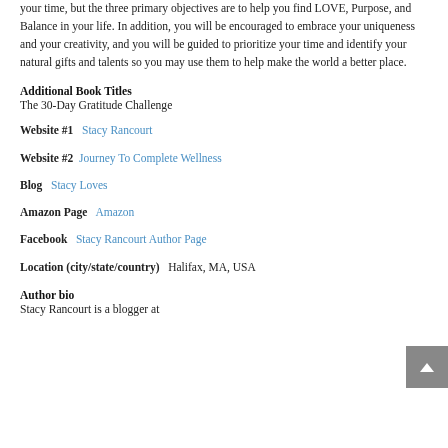your time, but the three primary objectives are to help you find LOVE, Purpose, and Balance in your life. In addition, you will be encouraged to embrace your uniqueness and your creativity, and you will be guided to prioritize your time and identify your natural gifts and talents so you may use them to help make the world a better place.
Additional Book Titles
The 30-Day Gratitude Challenge
Website #1   Stacy Rancourt
Website #2   Journey To Complete Wellness
Blog   Stacy Loves
Amazon Page   Amazon
Facebook   Stacy Rancourt Author Page
Location (city/state/country)   Halifax, MA, USA
Author bio
Stacy Rancourt is a blogger at